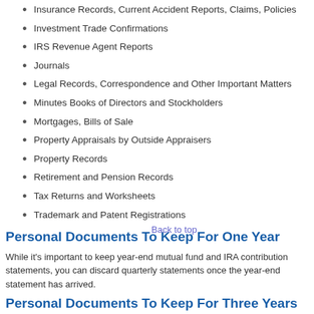Insurance Records, Current Accident Reports, Claims, Policies
Investment Trade Confirmations
IRS Revenue Agent Reports
Journals
Legal Records, Correspondence and Other Important Matters
Minutes Books of Directors and Stockholders
Mortgages, Bills of Sale
Property Appraisals by Outside Appraisers
Property Records
Retirement and Pension Records
Tax Returns and Worksheets
Trademark and Patent Registrations
Personal Documents To Keep For One Year
While it's important to keep year-end mutual fund and IRA contribution statements, you can discard quarterly statements once the year-end statement has arrived.
Personal Documents To Keep For Three Years
Credit Card Statements
Medical Bills (in case of insurance disputes)
Utility Records
Expired Insurance Policies